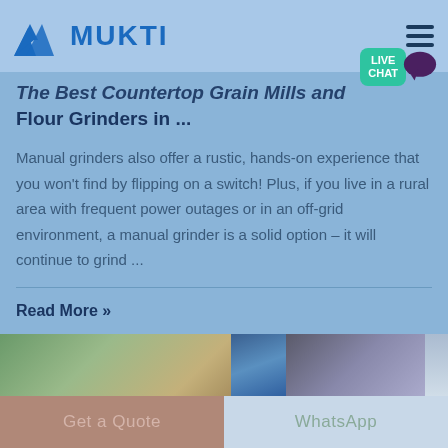MUKTI
The Best Countertop Grain Mills and Flour Grinders in ...
Manual grinders also offer a rustic, hands-on experience that you won't find by flipping on a switch! Plus, if you live in a rural area with frequent power outages or in an off-grid environment, a manual grinder is a solid option – it will continue to grind ...
Read More »
[Figure (photo): Three thumbnail images showing grain mill equipment and machinery]
Get a Quote
WhatsApp